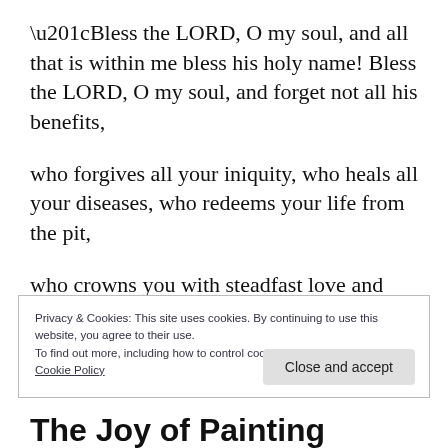“Bless the LORD, O my soul, and all that is within me bless his holy name! Bless the LORD, O my soul, and forget not all his benefits,
who forgives all your iniquity, who heals all your diseases, who redeems your life from the pit,
who crowns you with steadfast love and mercy, who satisfies you with good so that your youth
Privacy & Cookies: This site uses cookies. By continuing to use this website, you agree to their use.
To find out more, including how to control cookies, see here:
Cookie Policy
Close and accept
The Joy of Painting